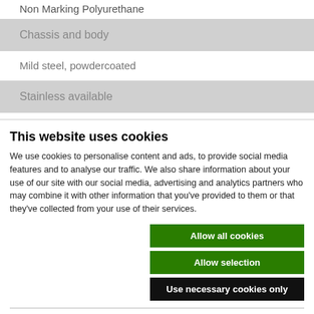Non Marking Polyurethane
Chassis and body
Mild steel, powdercoated
Stainless available
This website uses cookies
We use cookies to personalise content and ads, to provide social media features and to analyse our traffic. We also share information about your use of our site with our social media, advertising and analytics partners who may combine it with other information that you've provided to them or that they've collected from your use of their services.
Allow all cookies
Allow selection
Use necessary cookies only
Necessary  Preferences  Statistics  Marketing  Show details